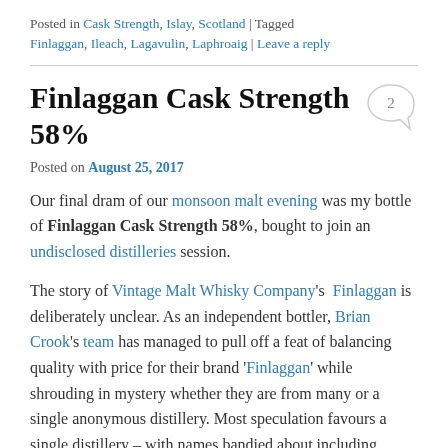Posted in Cask Strength, Islay, Scotland | Tagged Finlaggan, Ileach, Lagavulin, Laphroaig | Leave a reply
Finlaggan Cask Strength 58%
Posted on August 25, 2017
Our final dram of our monsoon malt evening was my bottle of Finlaggan Cask Strength 58%, bought to join an undisclosed distilleries session.
The story of Vintage Malt Whisky Company's Finlaggan is deliberately unclear. As an independent bottler, Brian Crook's team has managed to pull off a feat of balancing quality with price for their brand 'Finlaggan' while shrouding in mystery whether they are from many or a single anonymous distillery. Most speculation favours a single distillery – with names bandied about including Lagavulin, Laphroaig and Caol Ila.